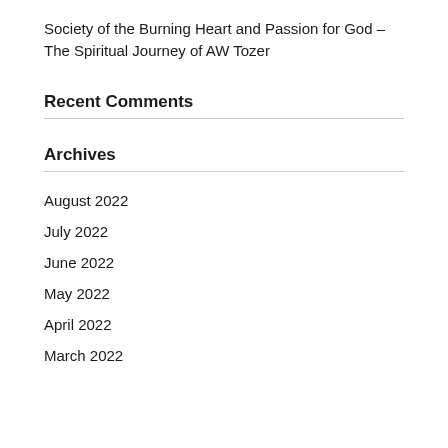Society of the Burning Heart and Passion for God – The Spiritual Journey of AW Tozer
Recent Comments
Archives
August 2022
July 2022
June 2022
May 2022
April 2022
March 2022